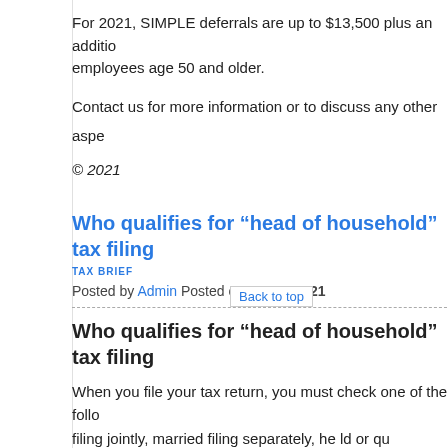For 2021, SIMPLE deferrals are up to $13,500 plus an additional amount for employees age 50 and older.
Contact us for more information or to discuss any other aspects
© 2021
Who qualifies for “head of household” tax filing
TAX BRIEF
Posted by Admin Posted on Apr 08 2021
Who qualifies for “head of household” tax filing
When you file your tax return, you must check one of the following filing statuses: single, married filing jointly, married filing separately, head of household or qualifying widow(er). To file a return as a head of household, wh… orable t
To qualify, you must maintain a household, which for more than half the year is the principal place of abode of a “qualifying child” or other relative of yours whom you can claim as a dependent (but not one you can only qualify due to the multiple support rules).
A qualifying child?
A child is considered qualifying if he or she: